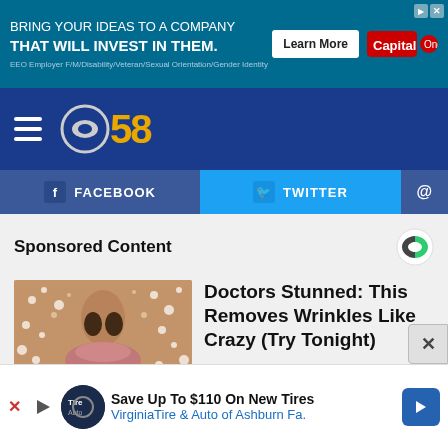[Figure (screenshot): Top advertisement banner: teal/blue background. Text: 'BRING YOUR IDEAS TO A COMPANY THAT WILL INVEST IN THEM.' with a Learn More button and Capital One logo. EEO employer disclaimer text.]
[Figure (logo): CBS 58 navigation bar logo on dark blue background with hamburger menu icon]
[Figure (screenshot): Social sharing bar with FACEBOOK and TWITTER buttons]
Sponsored Content
[Figure (photo): Close-up photo of a person's lower face/nose/lips with a sugar or salt crystal texture on the skin]
Doctors Stunned: This Removes Wrinkles Like Crazy (Try Tonight)
BRILLIANCE
[Figure (screenshot): Bottom advertisement: Save Up To $110 On New Tires - VirginiaTire & Auto of Ashburn Fa.]